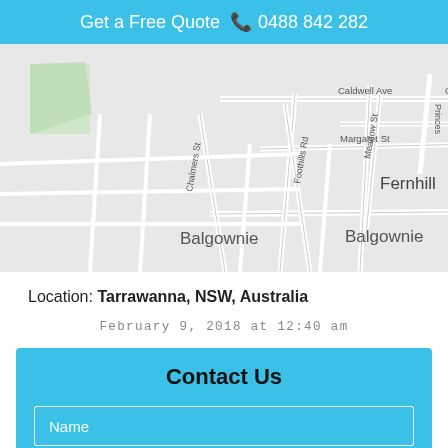Get a Free Quote  📞 0488 842 282
[Figure (map): Street map showing Balgownie, Fernhill, REIDTOWN area with streets including Caldwell Ave, Margaret St, Chalmers St, Foothills Rd, Meadow St, Balgownie Rd]
Location: Tarrawanna, NSW, Australia
February 9, 2018 at 12:40 am
Contact Us
Name
Email-id